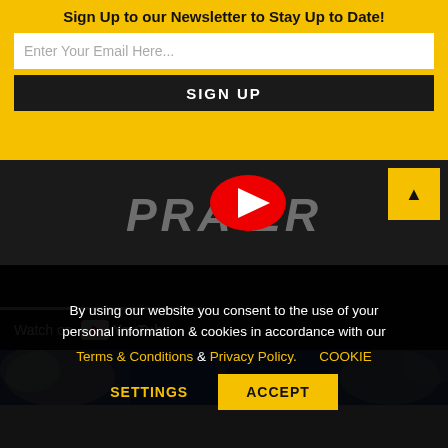Sign Up to our Newsletter to Stay Up to Date!
Enter Your Email Here...
SIGN UP
[Figure (screenshot): YouTube video embed showing 'PRAYER' text on dark background with red play button, 'Watch on YouTube' bar at bottom, and yellow triangle button in top-right corner]
[Figure (photo): Partial photo showing blue-lit interior with white decorative elements]
By using our website you consent to the use of your personal information & cookies in accordance with our Terms & Conditions & Privacy Policy.   COOKIE SETTINGS   ACCEPT